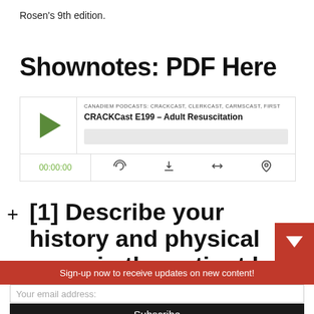Rosen's 9th edition.
Shownotes: PDF Here
[Figure (screenshot): Podcast player widget showing CRACKCast E199 - Adult Resuscitation episode from CANADIEM PODCASTS: CRACKCAST, CLERKCAST, CARMSCAST, FIRST. Player shows play button, timestamp 00:00:00, and controls for subscribe, download, embed, and share.]
+ [1] Describe your history and physical exam in the patient be
Sign-up now to receive updates on new content!
Your email address:
Subscribe